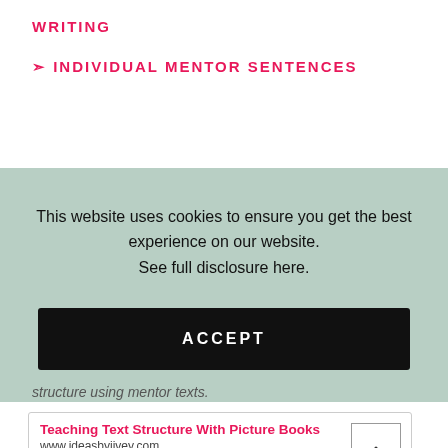WRITING
❧ INDIVIDUAL MENTOR SENTENCES
This website uses cookies to ensure you get the best experience on our website. See full disclosure here.
ACCEPT
structure using mentor texts.
Teaching Text Structure With Picture Books
www.ideasbyjivey.com
Jivey shares ideas and lessons to make literacy accessible for all.